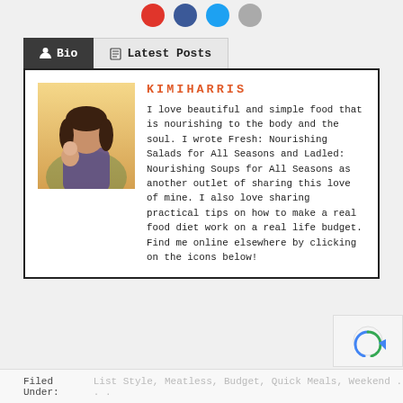[Figure (other): Social media icon buttons (red, blue, light blue, gray circles) partially visible at top]
Bio | Latest Posts
[Figure (photo): Profile photo of Kimi Harris, a woman with dark hair holding a child]
KIMIHARRIS
I love beautiful and simple food that is nourishing to the body and the soul. I wrote Fresh: Nourishing Salads for All Seasons and Ladled: Nourishing Soups for All Seasons as another outlet of sharing this love of mine. I also love sharing practical tips on how to make a real food diet work on a real life budget. Find me online elsewhere by clicking on the icons below!
Filed Under: